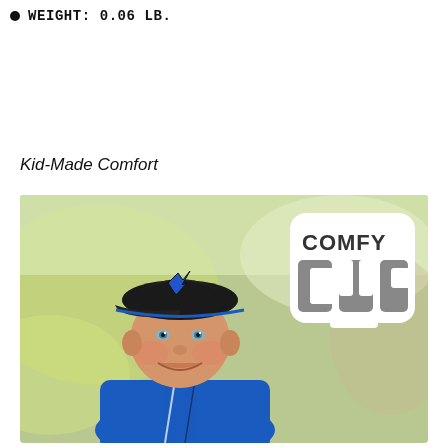WEIGHT: 0.06 LB.
Kid-Made Comfort
[Figure (photo): A smiling young boy wearing a black baseball cap with a blue bird logo and a blue baseball jersey, photographed outdoors at a baseball field. In the upper right of the image is a white rounded-square logo reading 'COMFY CUP' in bold dark letters.]